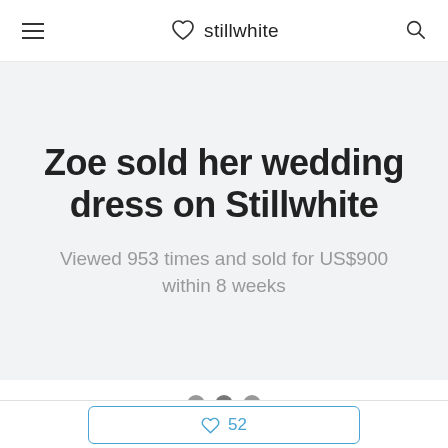stillwhite
Zoe sold her wedding dress on Stillwhite
Viewed 953 times and sold for US$900 within 8 weeks
[Figure (other): Three dots pagination indicator]
♡ 52